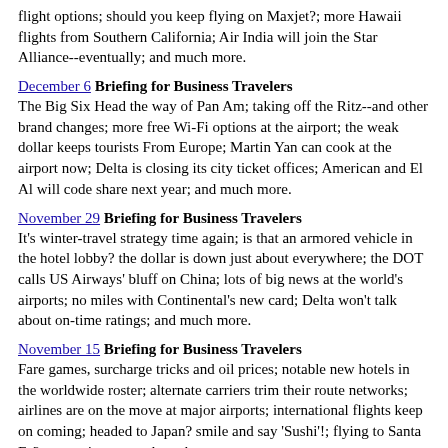flight options; should you keep flying on Maxjet?; more Hawaii flights from Southern California; Air India will join the Star Alliance--eventually; and much more.
December 6 Briefing for Business Travelers
The Big Six Head the way of Pan Am; taking off the Ritz--and other brand changes; more free Wi-Fi options at the airport; the weak dollar keeps tourists From Europe; Martin Yan can cook at the airport now; Delta is closing its city ticket offices; American and El Al will code share next year; and much more.
November 29 Briefing for Business Travelers
It's winter-travel strategy time again; is that an armored vehicle in the hotel lobby? the dollar is down just about everywhere; the DOT calls US Airways' bluff on China; lots of big news at the world's airports; no miles with Continental's new card; Delta won't talk about on-time ratings; and much more.
November 15 Briefing for Business Travelers
Fare games, surcharge tricks and oil prices; notable new hotels in the worldwide roster; alternate carriers trim their route networks; airlines are on the move at major airports; international flights keep on coming; headed to Japan? smile and say 'Sushi'!; flying to Santa Fe? no, you're not; and much more.